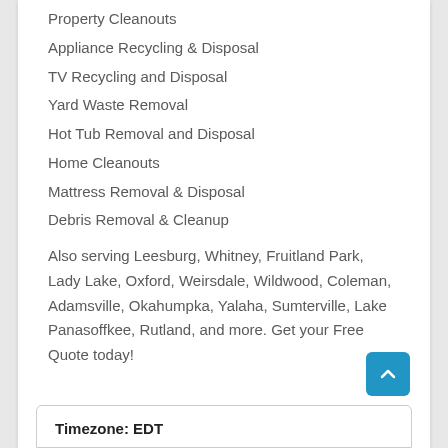Property Cleanouts
Appliance Recycling & Disposal
TV Recycling and Disposal
Yard Waste Removal
Hot Tub Removal and Disposal
Home Cleanouts
Mattress Removal & Disposal
Debris Removal & Cleanup
Also serving Leesburg, Whitney, Fruitland Park, Lady Lake, Oxford, Weirsdale, Wildwood, Coleman, Adamsville, Okahumpka, Yalaha, Sumterville, Lake Panasoffkee, Rutland, and more. Get your Free Quote today!
Timezone: EDT